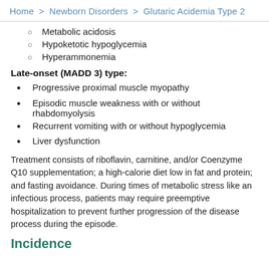Home > Newborn Disorders > Glutaric Acidemia Type 2
Metabolic acidosis
Hypoketotic hypoglycemia
Hyperammonemia
Late-onset (MADD 3) type:
Progressive proximal muscle myopathy
Episodic muscle weakness with or without rhabdomyolysis
Recurrent vomiting with or without hypoglycemia
Liver dysfunction
Treatment consists of riboflavin, carnitine, and/or Coenzyme Q10 supplementation; a high-calorie diet low in fat and protein; and fasting avoidance. During times of metabolic stress like an infectious process, patients may require preemptive hospitalization to prevent further progression of the disease process during the episode.
Incidence